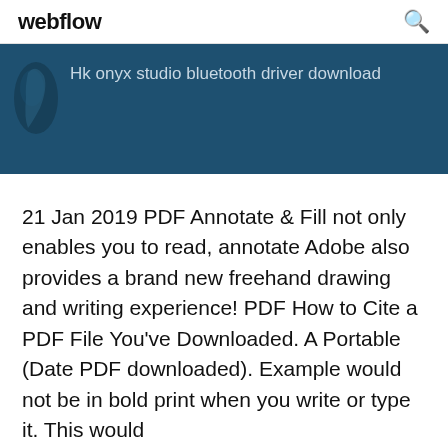webflow
Hk onyx studio bluetooth driver download
21 Jan 2019 PDF Annotate & Fill not only enables you to read, annotate Adobe also provides a brand new freehand drawing and writing experience! PDF How to Cite a PDF File You've Downloaded. A Portable (Date PDF downloaded). Example would not be in bold print when you write or type it. This would